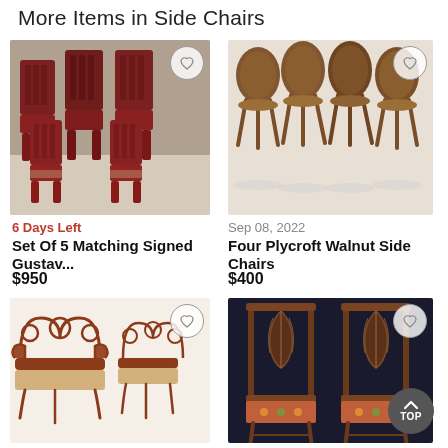More Items in Side Chairs
[Figure (photo): Set of 5 matching dark wood Gustav Stickley style mission side chairs with fabric seats]
[Figure (photo): Four Plycroft walnut mid-century modern side chairs with bentwood backs and splayed legs]
6 Days Left
Set Of 5 Matching Signed Gustav...
$950
Sep 08, 2022
Four Plycroft Walnut Side Chairs
$400
[Figure (photo): Ornate bentwood chairs with scrollwork backs including a loveseat and two side chairs]
[Figure (photo): Two Chippendale style side chairs with carved wheat sheaf backs and floral upholstered seats]